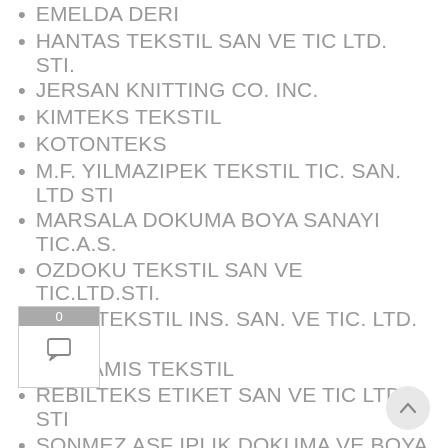EMELDA DERI
HANTAS TEKSTIL SAN VE TIC LTD. STI.
JERSAN KNITTING CO. INC.
KIMTEKS TEKSTIL
KOTONTEKS
M.F. YILMAZIPEK TEKSTIL TIC. SAN. LTD STI
MARSALA DOKUMA BOYA SANAYI TIC.A.S.
OZDOKU TEKSTIL SAN VE TIC.LTD.STI.
OZEL TEKSTIL INS. SAN. VE TIC. LTD. STI.
PARLAMIS TEKSTIL
REBILTEKS ETIKET SAN VE TIC LTD STI
SONMEZ ASF IPLIK DOKUMA VE BOYA SANAYI A.S.